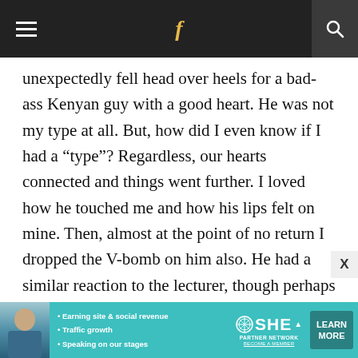Navigation bar with hamburger menu, Facebook icon, and search
unexpectedly fell head over heels for a bad-ass Kenyan guy with a good heart. He was not my type at all. But, how did I even know if I had a “type”? Regardless, our hearts connected and things went further. I loved how he touched me and how his lips felt on mine. Then, almost at the point of no return I dropped the V-bomb on him also. He had a similar reaction to the lecturer, though perhaps not so harsh. But, while it still hurt like hell, I became even more attracted to him, mostly
[Figure (infographic): SHE Partner Network advertisement banner with woman photo, bullet points about earning site & social revenue, traffic growth, speaking on stages, SHE logo, and LEARN MORE button]